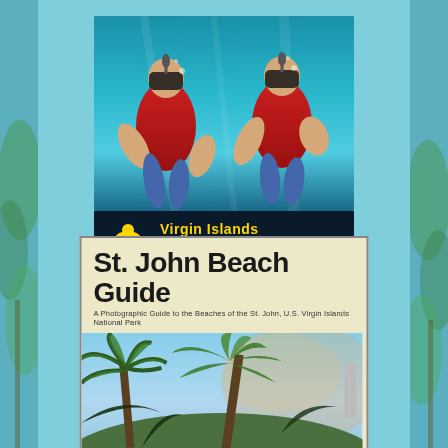[Figure (photo): Virgin Islands Ecotours advertisement showing two snorkelers underwater in blue water wearing red vests and snorkel masks, with the company logo below showing a sea turtle and text 'Virgin Islands ECOTOURS KAYAK, HIKE & SNORKEL' in yellow on dark background]
[Figure (photo): St. John Beach Guide book cover showing the title 'St. John Beach Guide' in large bold text with subtitle 'A Photographic Guide to the Beaches of the St. John, U.S. Virgin Islands National Park' and a photo of palm trees with sky]